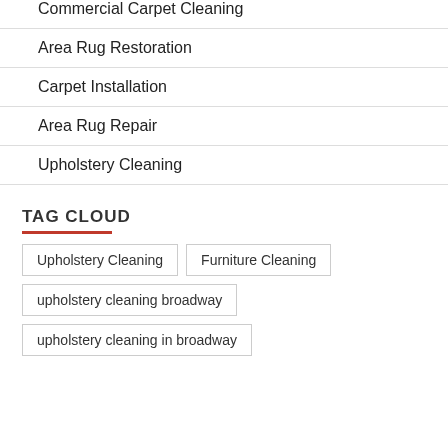Commercial Carpet Cleaning
Area Rug Restoration
Carpet Installation
Area Rug Repair
Upholstery Cleaning
TAG CLOUD
Upholstery Cleaning
Furniture Cleaning
upholstery cleaning broadway
upholstery cleaning in broadway